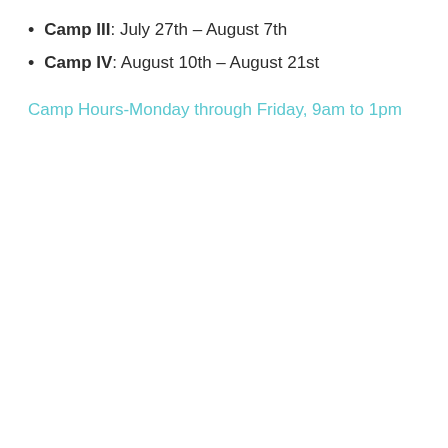Camp III: July 27th – August 7th
Camp IV: August 10th – August 21st
Camp Hours-Monday through Friday, 9am to 1pm